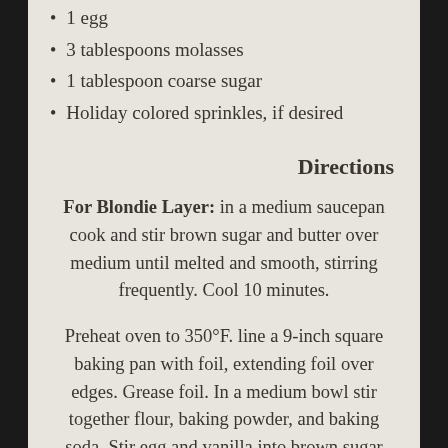1 egg
3 tablespoons molasses
1 tablespoon coarse sugar
Holiday colored sprinkles, if desired
Directions
For Blondie Layer: in a medium saucepan cook and stir brown sugar and butter over medium until melted and smooth, stirring frequently. Cool 10 minutes.
Preheat oven to 350°F. line a 9-inch square baking pan with foil, extending foil over edges. Grease foil. In a medium bowl stir together flour, baking powder, and baking soda. Stir egg and vanilla into brown sugar mixture. Stir in flour mixture. Spread batter